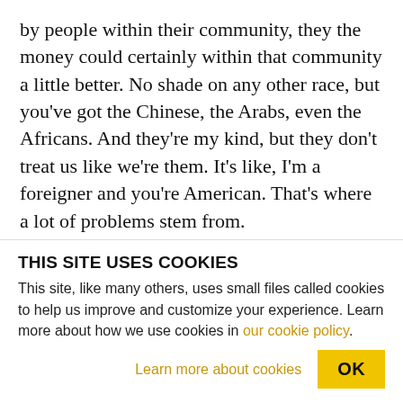by people within their community, they the money could certainly within that community a little better. No shade on any other race, but you've got the Chinese, the Arabs, even the Africans. And they're my kind, but they don't treat us like we're them. It's like, I'm a foreigner and you're American. That's where a lot of problems stem from.
TAYA GRAHAM: Stephen, let me ask you the same question. Why do you think crime continues to rise, even though we have this military style police
THIS SITE USES COOKIES
This site, like many others, uses small files called cookies to help us improve and customize your experience. Learn more about how we use cookies in our cookie policy.
Learn more about cookies   OK